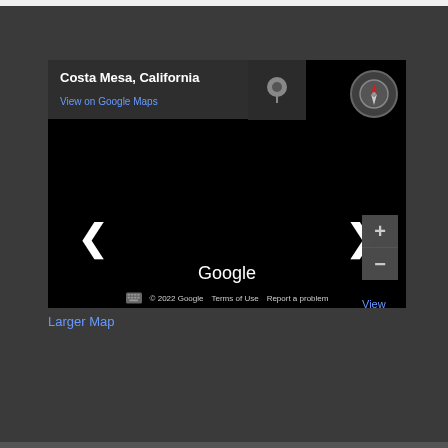[Figure (map): Google Maps embed showing Costa Mesa, California with navigation controls, compass, zoom buttons, and navigation arrows on a dark background]
View
Larger Map